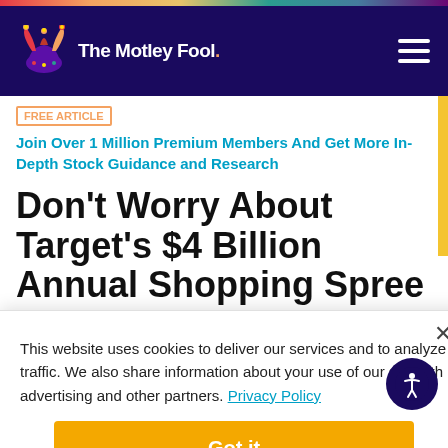The Motley Fool
FREE ARTICLE | Join Over 1 Million Premium Members And Get More In-Depth Stock Guidance and Research
Don't Worry About Target's $4 Billion Annual Shopping Spree
By Nicholas Rossolillo - Updated Mar 7, 2021 at 9:56AM
This website uses cookies to deliver our services and to analyze traffic. We also share information about your use of our site with advertising and other partners. Privacy Policy
Got it
Cookie Settings